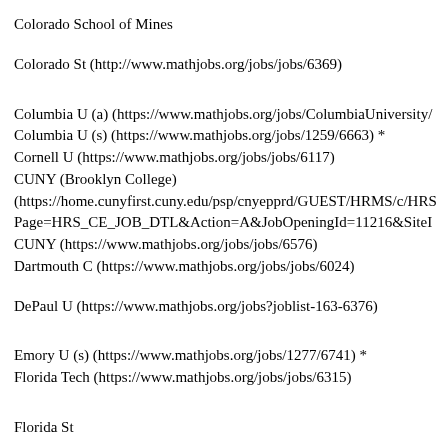Colorado School of Mines
Colorado St (http://www.mathjobs.org/jobs/jobs/6369)
Columbia U (a) (https://www.mathjobs.org/jobs/ColumbiaUniversity/
Columbia U (s) (https://www.mathjobs.org/jobs/1259/6663) *
Cornell U (https://www.mathjobs.org/jobs/jobs/6117)
CUNY (Brooklyn College) (https://home.cunyfirst.cuny.edu/psp/cnyepprd/GUEST/HRMS/c/HRS Page=HRS_CE_JOB_DTL&Action=A&JobOpeningId=11216&SiteI
CUNY (https://www.mathjobs.org/jobs/jobs/6576)
Dartmouth C (https://www.mathjobs.org/jobs/jobs/6024)
DePaul U (https://www.mathjobs.org/jobs?joblist-163-6376)
Emory U (s) (https://www.mathjobs.org/jobs/1277/6741) *
Florida Tech (https://www.mathjobs.org/jobs/jobs/6315)
Florida St